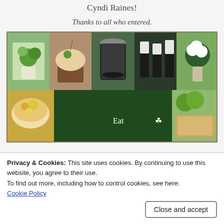Cyndi Raines!
Thanks to all who entered.
[Figure (photo): St. Patrick's Day themed food photo collage showing cupcakes, drinks, green treats, floral arrangements, snacks, and an 'Eat' text on green background with shamrock]
Privacy & Cookies: This site uses cookies. By continuing to use this website, you agree to their use.
To find out more, including how to control cookies, see here:
Cookie Policy
Close and accept